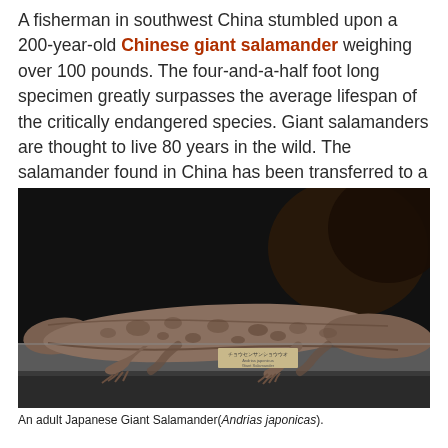A fisherman in southwest China stumbled upon a 200-year-old Chinese giant salamander weighing over 100 pounds. The four-and-a-half foot long specimen greatly surpasses the average lifespan of the critically endangered species. Giant salamanders are thought to live 80 years in the wild. The salamander found in China has been transferred to a research facility for study.
[Figure (photo): Photo of an adult Japanese Giant Salamander (Andrias japonicas) displayed on a metal surface in what appears to be a museum or research facility, with dark background.]
An adult Japanese Giant Salamander(Andrias japonicas).